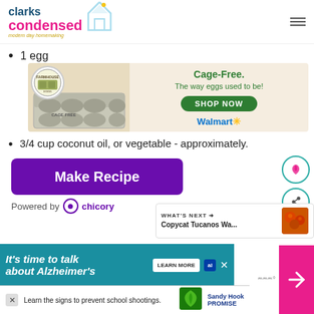clarks condensed - modern day homemaking
1 egg
[Figure (photo): Farmhouse Eggs advertisement: egg carton labeled CAGE FREE, with text 'Cage-Free. The way eggs used to be!' and a green SHOP NOW button, Walmart logo]
3/4 cup coconut oil, or vegetable - approximately.
[Figure (other): Make Recipe button - purple/violet rounded rectangle with white text]
Powered by chicory
[Figure (screenshot): WHAT'S NEXT: Copycat Tucanos Wa... with thumbnail of food]
[Figure (screenshot): Bottom banner ad: It's time to talk about Alzheimer's with LEARN MORE button]
[Figure (screenshot): Sandy Hook Promise ad: Learn the signs to prevent school shootings.]